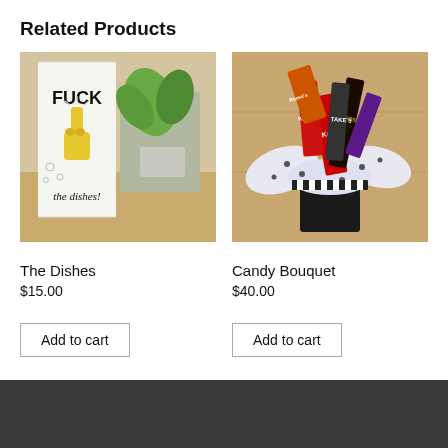Related Products
[Figure (photo): Dish towel with 'FUCK the dishes!' text and cartoon middle finger hand graphic, placed on a wooden table with a green plant in the background.]
The Dishes
$15.00
Add to cart
[Figure (photo): Candy bouquet in a black container with KitKat, Reese's, Hershey's, Take 5, and other candy bars arranged with black and white polka dot ribbon, on a wood surface.]
Candy Bouquet
$40.00
Add to cart